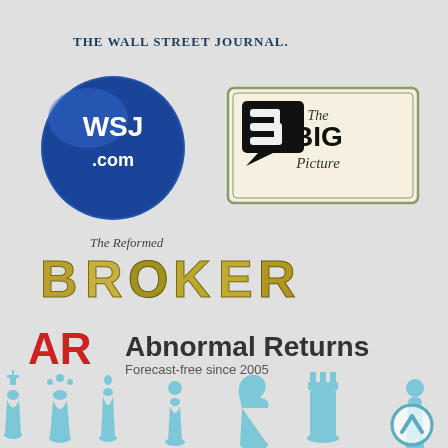[Figure (logo): The Wall Street Journal logo with WSJ.com blue circle badge and 'The Big Picture' logo with a speech-bubble B icon in a rectangular frame]
[Figure (logo): The Reformed Broker logo with stylized gold/silver 3D-textured lettering]
[Figure (logo): Abnormal Returns logo - AR in red with text 'Abnormal Returns' and tagline 'Forecast-free since 2005']
[Figure (illustration): Light blue chess pieces silhouettes (king, queen, bishop, pawn, knight, rook) along the bottom of the page with a circular scroll-up arrow button in the bottom right corner]